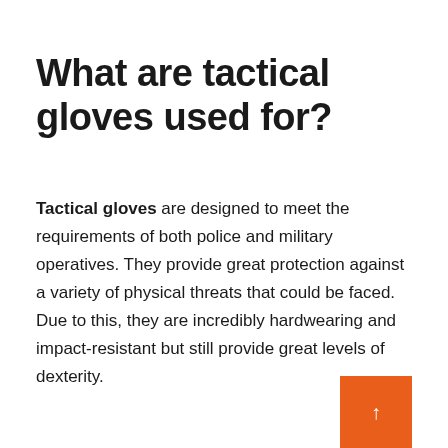What are tactical gloves used for?
Tactical gloves are designed to meet the requirements of both police and military operatives. They provide great protection against a variety of physical threats that could be faced. Due to this, they are incredibly hardwearing and impact-resistant but still provide great levels of dexterity.